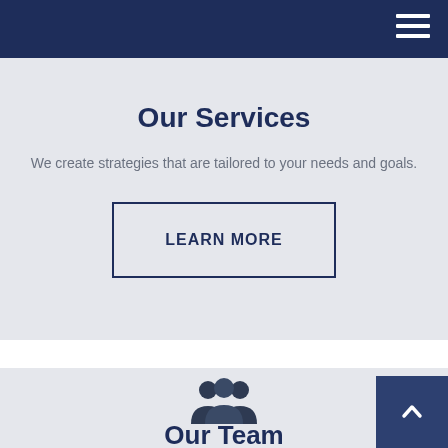Navigation bar with hamburger menu
Our Services
We create strategies that are tailored to your needs and goals.
LEARN MORE
[Figure (illustration): Group of people / team icon silhouette]
Our Team